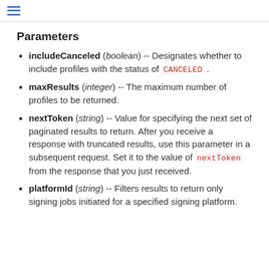≡
Parameters
includeCanceled (boolean) -- Designates whether to include profiles with the status of CANCELED .
maxResults (integer) -- The maximum number of profiles to be returned.
nextToken (string) -- Value for specifying the next set of paginated results to return. After you receive a response with truncated results, use this parameter in a subsequent request. Set it to the value of nextToken from the response that you just received.
platformId (string) -- Filters results to return only signing jobs initiated for a specified signing platform.